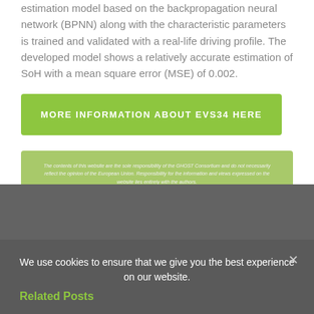estimation model based on the backpropagation neural network (BPNN) along with the characteristic parameters is trained and validated with a real-life driving profile. The developed model shows a relatively accurate estimation of SoH with a mean square error (MSE) of 0.002.
[Figure (other): Green button linking to more information about EVS34]
The contents of this website are the sole responsibility of the GHOST Consortium and do not necessarily reflect the opinion of the European Union. Responsibility for the information and views expressed on the website lies entirely with the authors.
June 30th, 2021
We use cookies to ensure that we give you the best experience on our website.
Related Posts